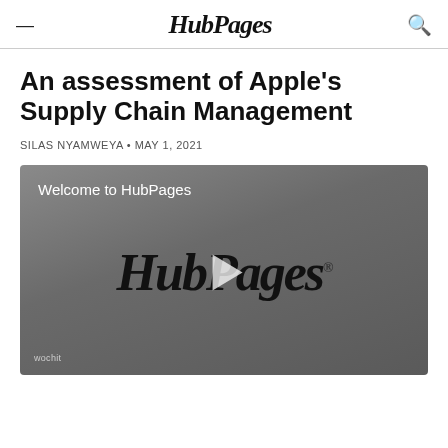HubPages
An assessment of Apple's Supply Chain Management
SILAS NYAMWEYA • MAY 1, 2021
[Figure (screenshot): Video player showing HubPages welcome screen with HubPages logo and play button overlay, wochit branding at bottom left]